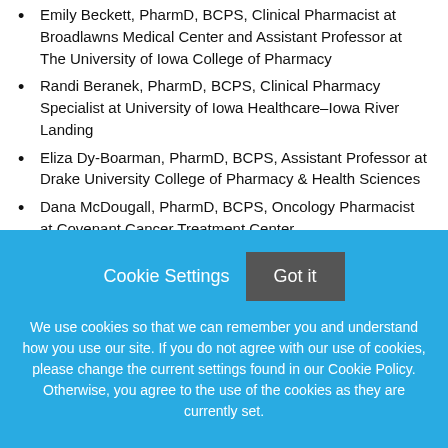Emily Beckett, PharmD, BCPS, Clinical Pharmacist at Broadlawns Medical Center and Assistant Professor at The University of Iowa College of Pharmacy
Randi Beranek, PharmD, BCPS, Clinical Pharmacy Specialist at University of Iowa Healthcare–Iowa River Landing
Eliza Dy-Boarman, PharmD, BCPS, Assistant Professor at Drake University College of Pharmacy & Health Sciences
Dana McDougall, PharmD, BCPS, Oncology Pharmacist at Covenant Cancer Treatment Center
Holly Randleman, PharmD, Clinical Pharmacist at
Cookie Settings   Got it
We use cookies so that we can remember you and understand how you use our site. If you do not agree with our use of cookies, please change the current settings found in our Cookie Policy. Otherwise, you agree to the use of the cookies as they are currently set.